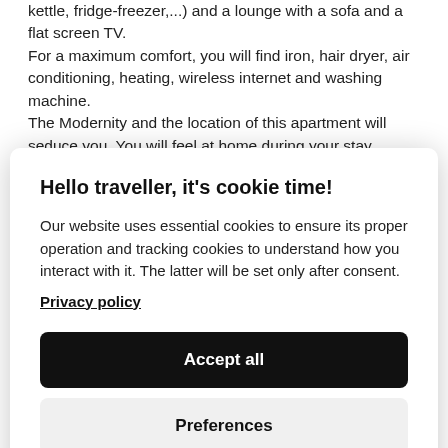kettle, fridge-freezer,...) and a lounge with a sofa and a flat screen TV.
For a maximum comfort, you will find iron, hair dryer, air conditioning, heating, wireless internet and washing machine.
The Modernity and the location of this apartment will seduce you. You will feel at home during your stay.
Many restaurants, fast food and grocery stores are located in a radius of 500 meters around the apartment.
Hello traveller, it's cookie time!
Our website uses essential cookies to ensure its proper operation and tracking cookies to understand how you interact with it. The latter will be set only after consent.
Privacy policy
Accept all
Preferences
Oven